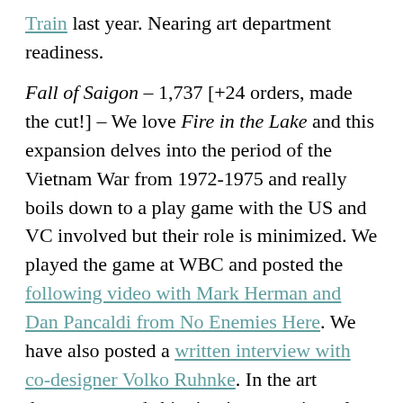Train last year. Nearing art department readiness.
Fall of Saigon – 1,737 [+24 orders, made the cut!] – We love Fire in the Lake and this expansion delves into the period of the Vietnam War from 1972-1975 and really boils down to a play game with the US and VC involved but their role is minimized. We played the game at WBC and posted the following video with Mark Herman and Dan Pancaldi from No Enemies Here. We have also posted a written interview with co-designer Volko Ruhnke. In the art department and shipping in approximately 5-9 months. We just finished up a series of 12 Event Card spoilers for the game with the development team. Here are